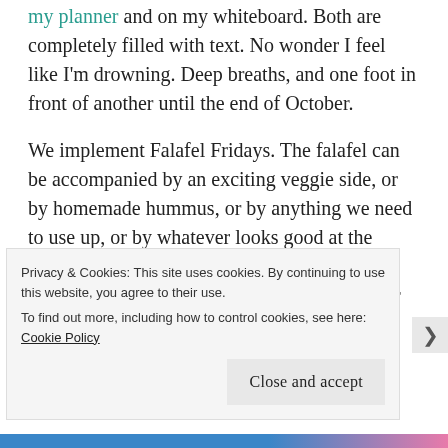my planner and on my whiteboard. Both are completely filled with text. No wonder I feel like I'm drowning. Deep breaths, and one foot in front of another until the end of October.
We implement Falafel Fridays. The falafel can be accompanied by an exciting veggie side, or by homemade hummus, or by anything we need to use up, or by whatever looks good at the grocery store. We can eat in or get take out or meet at one of several falafely restaurants near us (though regrettably not Roni Falafel... see you in November!)
Privacy & Cookies: This site uses cookies. By continuing to use this website, you agree to their use.
To find out more, including how to control cookies, see here: Cookie Policy
Close and accept